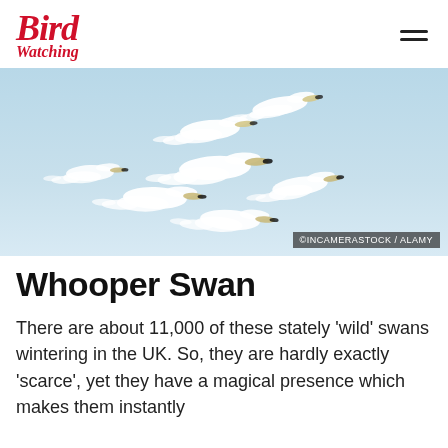Bird Watching
[Figure (photo): A flock of white whooper swans in flight against a pale blue sky, photographed from below. Credit: ©INCAMERASTOCK / ALAMY]
©INCAMERASTOCK / ALAMY
Whooper Swan
There are about 11,000 of these stately 'wild' swans wintering in the UK. So, they are hardly exactly 'scarce', yet they have a magical presence which makes them instantly